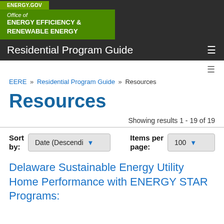ENERGY.GOV | Office of ENERGY EFFICIENCY & RENEWABLE ENERGY | Residential Program Guide
EERE » Residential Program Guide » Resources
Resources
Showing results 1 - 19 of 19
Sort by: Date (Descendi▼    Items per page: 100▼
Delaware Sustainable Energy Utility Home Performance with ENERGY STAR Programs: